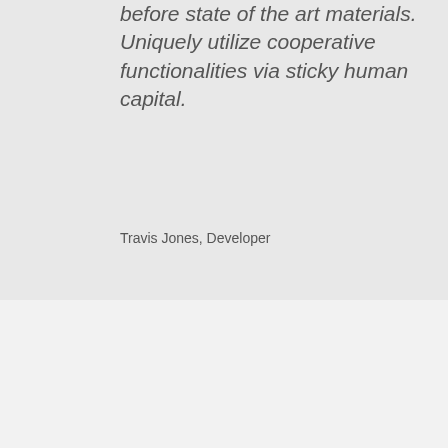before state of the art materials. Uniquely utilize cooperative functionalities via sticky human capital.
Travis Jones, Developer
STATS & FUN FACTS
[Figure (infographic): Monitor icon with code lines displayed on screen]
25000+
CODE LINES THIS MONTH